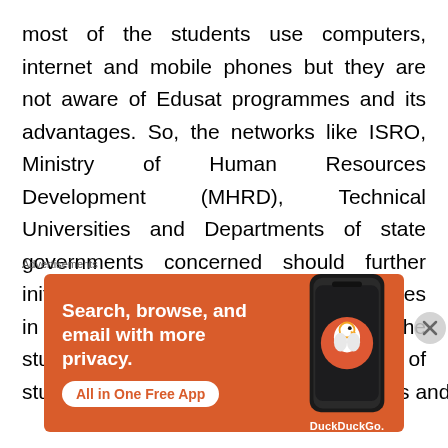most of the students use computers, internet and mobile phones but they are not aware of Edusat programmes and its advantages. So, the networks like ISRO, Ministry of Human Resources Development (MHRD), Technical Universities and Departments of state governments concerned should further initiatives to promote their quality services in the field of education to make all the students participate in it. Lesser number of students knew about Edusat programmes and sti...
[Figure (other): DuckDuckGo advertisement banner with orange background showing 'Search, browse, and email with more privacy. All in One Free App' text with a phone mockup and DuckDuckGo logo]